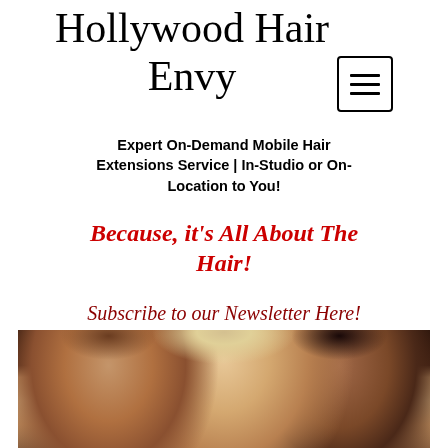Hollywood Hair Envy
Expert On-Demand Mobile Hair Extensions Service | In-Studio or On-Location to You!
Because, it's All About The Hair!
Subscribe to our Newsletter Here!
[Figure (photo): Three women with different hair colors and styles — brunette on left, blonde in center, dark-haired on right — shown in a glamour-style close-up portrait]